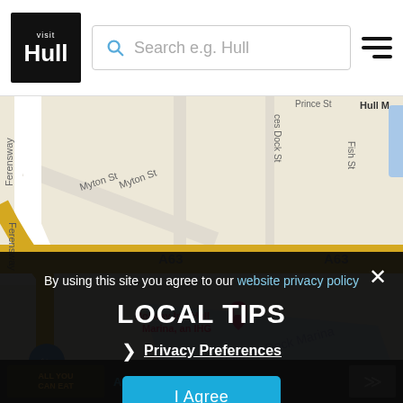[Figure (screenshot): Visit Hull website header with logo, search bar reading 'Search e.g. Hull', and hamburger menu icon]
[Figure (map): Google Maps view of Hull city centre showing A63 road, Railway Dock Marina, Holiday Inn Hull Marina an IHG, Hull Waterside & Marina, Fruit Market Hull, Ferensway, Myton St, Prince St, Fish St, and various map markers]
By using this site you agree to our website privacy policy
LOCAL TIPS
❯ Privacy Preferences
I Agree
ALL YOU CAN EAT TAPAS